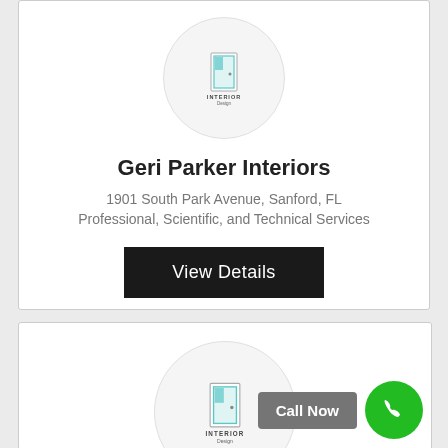[Figure (logo): Interior Design logo in a circular grey background - first card]
Geri Parker Interiors
1901 South Park Avenue, Sanford, FL
Professional, Scientific, and Technical Services
View Details
[Figure (logo): Interior Design logo in a circular grey background - second card]
Call Now